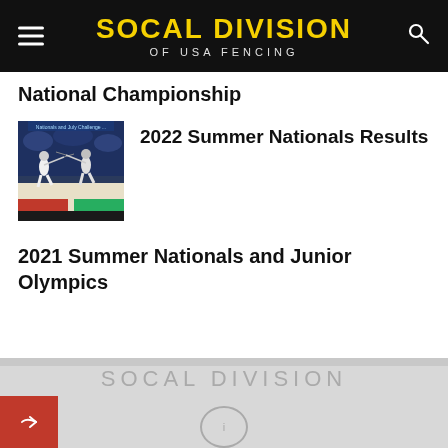SOCAL DIVISION OF USA FENCING
National Championship
[Figure (photo): Two fencers competing on a fencing strip, action shot]
2022 Summer Nationals Results
2021 Summer Nationals and Junior Olympics
SOCAL DIVISION